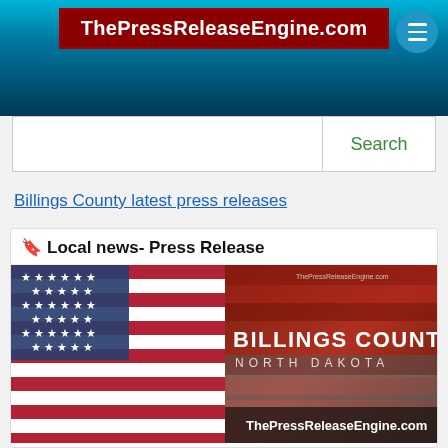ThePressReleaseEngine.com
Search
Billings County latest press releases
Local news- Press Release
[Figure (illustration): Billings County North Dakota press release engine banner image with American flag on left half and red/brown textured background on right with text BILLINGS COUNTY NORTH DAKOTA and ThePressReleaseEngine.com Billings County North Dakota]
Billings County
North Dakota